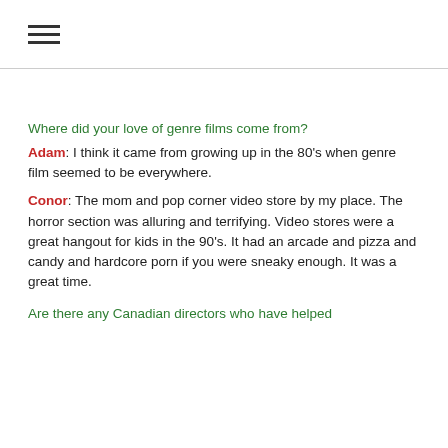≡
Where did your love of genre films come from?
Adam: I think it came from growing up in the 80's when genre film seemed to be everywhere.
Conor: The mom and pop corner video store by my place. The horror section was alluring and terrifying. Video stores were a great hangout for kids in the 90's. It had an arcade and pizza and candy and hardcore porn if you were sneaky enough. It was a great time.
Are there any Canadian directors who have helped shape your love of genre?